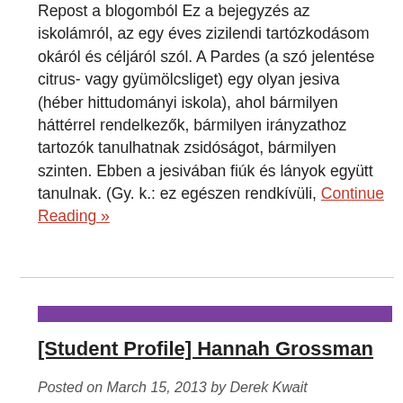Repost a blogomból Ez a bejegyzés az iskolámról, az egy éves zizilendi tartózkodásom okáról és céljáról szól. A Pardes (a szó jelentése citrus- vagy gyümölcsliget) egy olyan jesiva (héber hittudományi iskola), ahol bármilyen háttérrel rendelkezők, bármilyen irányzathoz tartozók tanulhatnak zsidóságot, bármilyen szinten. Ebben a jesivában fiúk és lányok együtt tanulnak. (Gy. k.: ez egészen rendkívüli, Continue Reading »
[Figure (other): Purple horizontal decorative bar separator]
[Student Profile] Hannah Grossman
Posted on March 15, 2013 by Derek Kwait